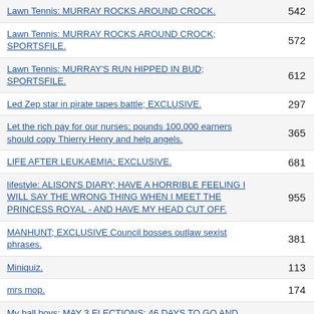| Title | Page |
| --- | --- |
| Lawn Tennis: MURRAY ROCKS AROUND CROCK. | 542 |
| Lawn Tennis: MURRAY ROCKS AROUND CROCK; SPORTSFILE. | 572 |
| Lawn Tennis: MURRAY'S RUN HIPPED IN BUD; SPORTSFILE. | 612 |
| Led Zep star in pirate tapes battle; EXCLUSIVE. | 297 |
| Let the rich pay for our nurses; pounds 100,000 earners should copy Thierry Henry and help angels. | 365 |
| LIFE AFTER LEUKAEMIA; EXCLUSIVE. | 681 |
| lifestyle: ALISON'S DIARY; HAVE A HORRIBLE FEELING I WILL SAY THE WRONG THING WHEN I MEET THE PRINCESS ROYAL - AND HAVE MY HEAD CUT OFF. | 955 |
| MANHUNT; EXCLUSIVE Council bosses outlaw sexist phrases. | 381 |
| Miniquiz. | 113 |
| mrs mop. | 174 |
| My ball boys; MAY 3 ELECTIONS: 46 DAYS TO GO AND THE HITTERS COME OUT. | 98 |